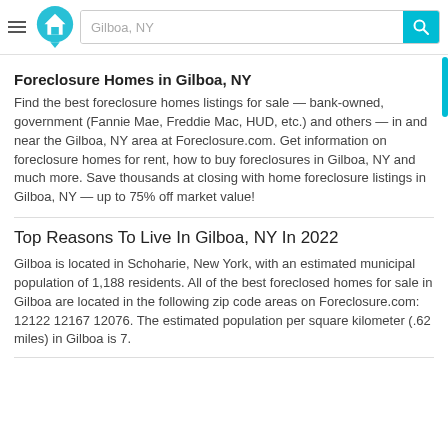Gilboa, NY
Foreclosure Homes in Gilboa, NY
Find the best foreclosure homes listings for sale — bank-owned, government (Fannie Mae, Freddie Mac, HUD, etc.) and others — in and near the Gilboa, NY area at Foreclosure.com. Get information on foreclosure homes for rent, how to buy foreclosures in Gilboa, NY and much more. Save thousands at closing with home foreclosure listings in Gilboa, NY — up to 75% off market value!
Top Reasons To Live In Gilboa, NY In 2022
Gilboa is located in Schoharie, New York, with an estimated municipal population of 1,188 residents. All of the best foreclosed homes for sale in Gilboa are located in the following zip code areas on Foreclosure.com: 12122 12167 12076. The estimated population per square kilometer (.62 miles) in Gilboa is 7.